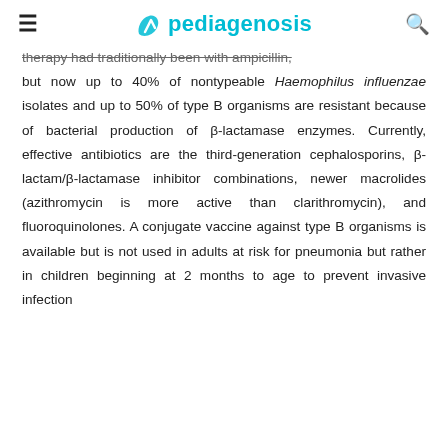pediagenosis
therapy had traditionally been with ampicillin, but now up to 40% of nontypeable Haemophilus influenzae isolates and up to 50% of type B organisms are resistant because of bacterial production of β-lactamase enzymes. Currently, effective antibiotics are the third-generation cephalosporins, β-lactam/β-lactamase inhibitor combinations, newer macrolides (azithromycin is more active than clarithromycin), and fluoroquinolones. A conjugate vaccine against type B organisms is available but is not used in adults at risk for pneumonia but rather in children beginning at 2 months to age to prevent invasive infection